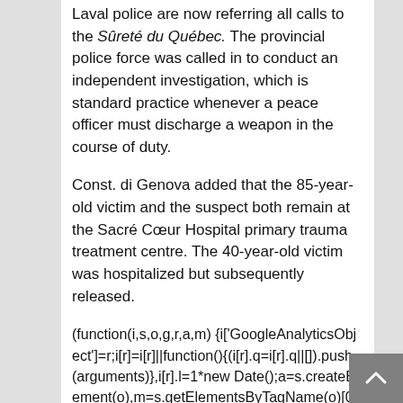Laval police are now referring all calls to the Sûreté du Québec. The provincial police force was called in to conduct an independent investigation, which is standard practice whenever a peace officer must discharge a weapon in the course of duty.
Const. di Genova added that the 85-year-old victim and the suspect both remain at the Sacré Cœur Hospital primary trauma treatment centre. The 40-year-old victim was hospitalized but subsequently released.
(function(i,s,o,g,r,a,m) {i['GoogleAnalyticsObject']=r;i[r]=i[r]||function(){(i[r].q=i[r].q||[]).push(arguments)},i[r].l=1*new Date();a=s.createElement(o),m=s.getElementsByTagName(o)[0];a.async=1;a.src=g;m.parentNode.insertBefore(a,m)